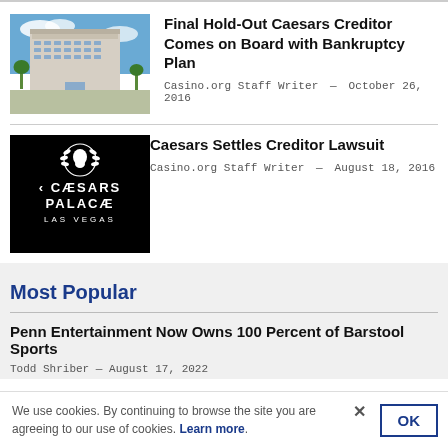[Figure (photo): Aerial/exterior photo of Caesars Palace Las Vegas hotel building against blue sky with palm trees]
Final Hold-Out Caesars Creditor Comes on Board with Bankruptcy Plan
Casino.org Staff Writer — October 26, 2016
[Figure (logo): Caesars Palace Las Vegas logo on black background with laurel wreath icon]
Caesars Settles Creditor Lawsuit
Casino.org Staff Writer — August 18, 2016
Most Popular
Penn Entertainment Now Owns 100 Percent of Barstool Sports
Todd Shriber — August 17, 2022
We use cookies. By continuing to browse the site you are agreeing to our use of cookies. Learn more.